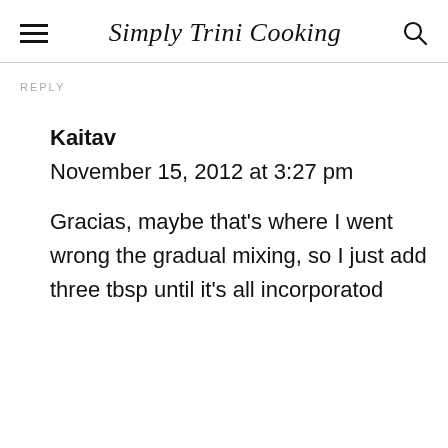Simply Trini Cooking
REPLY
Kaitav
November 15, 2012 at 3:27 pm
Gracias, maybe that's where I went wrong the gradual mixing, so I just add three tbsp until it's all incorporatod